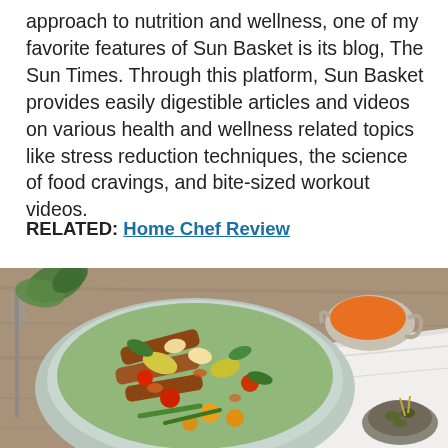approach to nutrition and wellness, one of my favorite features of Sun Basket is its blog, The Sun Times. Through this platform, Sun Basket provides easily digestible articles and videos on various health and wellness related topics like stress reduction techniques, the science of food cravings, and bite-sized workout videos.
RELATED: Home Chef Review
[Figure (photo): Overhead photo of a colorful salad bowl with sliced steak, cherry tomatoes, green beans, yellow peppers, tortellini, and greens, alongside a small gravy boat with orange sauce and a small bowl of capers on a wooden table with a white cloth napkin.]